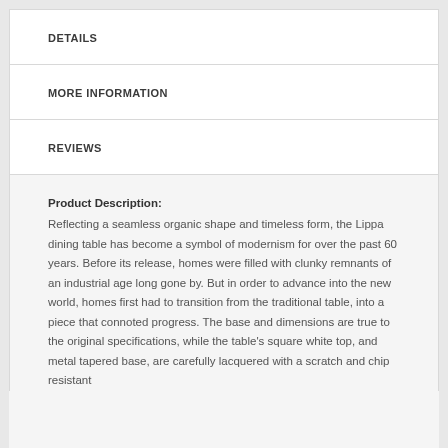DETAILS
MORE INFORMATION
REVIEWS
Product Description: Reflecting a seamless organic shape and timeless form, the Lippa dining table has become a symbol of modernism for over the past 60 years. Before its release, homes were filled with clunky remnants of an industrial age long gone by. But in order to advance into the new world, homes first had to transition from the traditional table, into a piece that connoted progress. The base and dimensions are true to the original specifications, while the table's square white top, and metal tapered base, are carefully lacquered with a scratch and chip resistant